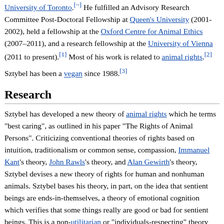University of Toronto.[~] He fulfilled an Advisory Research Committee Post-Doctoral Fellowship at Queen's University (2001-2002), held a fellowship at the Oxford Centre for Animal Ethics (2007–2011), and a research fellowship at the University of Vienna (2011 to present).[1] Most of his work is related to animal rights.[2]
Sztybel has been a vegan since 1988.[3]
Research
Sztybel has developed a new theory of animal rights which he terms "best caring", as outlined in his paper "The Rights of Animal Persons". Criticizing conventional theories of rights based on intuition, traditionalism or common sense, compassion, Immanuel Kant's theory, John Rawls's theory, and Alan Gewirth's theory, Sztybel devises a new theory of rights for human and nonhuman animals. Sztybel bases his theory, in part, on the idea that sentient beings are ends-in-themselves, a theory of emotional cognition which verifies that some things really are good or bad for sentient beings. This is a non-utilitarian or "individuals-respecting" theory that defends the proposition that all sentient beings should be legally recognized as persons.[4]